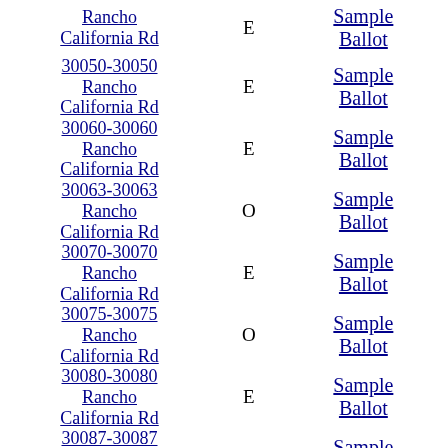| Address | Side | Sample Ballot |
| --- | --- | --- |
| Rancho California Rd | E | Sample Ballot |
| 30050-30050 Rancho California Rd | E | Sample Ballot |
| 30060-30060 Rancho California Rd | E | Sample Ballot |
| 30063-30063 Rancho California Rd | O | Sample Ballot |
| 30070-30070 Rancho California Rd | E | Sample Ballot |
| 30075-30075 Rancho California Rd | O | Sample Ballot |
| 30080-30080 Rancho California Rd | E | Sample Ballot |
| 30087-30087 Rancho California Rd | O | Sample Ballot |
| 30090-30090 |  | Sample Ballot |